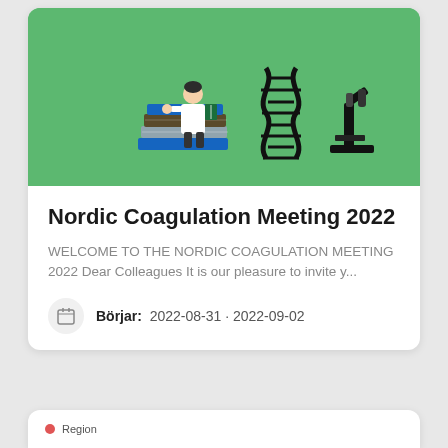[Figure (illustration): Green banner with illustration of a doctor standing on a stack of books, a DNA double helix, and a microscope on a green background]
Nordic Coagulation Meeting 2022
WELCOME TO THE NORDIC COAGULATION MEETING 2022 Dear Colleagues It is our pleasure to invite y...
Börjar:  2022-08-31 · 2022-09-02
Region